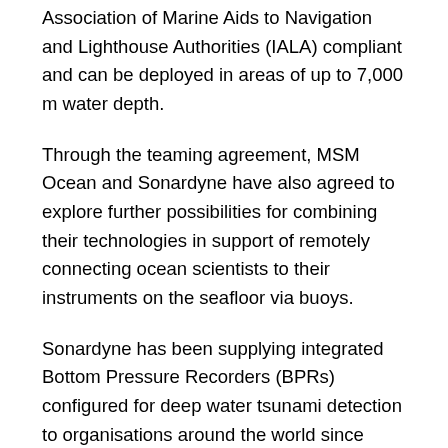Association of Marine Aids to Navigation and Lighthouse Authorities (IALA) compliant and can be deployed in areas of up to 7,000 m water depth.
Through the teaming agreement, MSM Ocean and Sonardyne have also agreed to explore further possibilities for combining their technologies in support of remotely connecting ocean scientists to their instruments on the seafloor via buoys.
Sonardyne has been supplying integrated Bottom Pressure Recorders (BPRs) configured for deep water tsunami detection to organisations around the world since 2007. Combining precise sensing, long-life battery and reliable communications in one easy to deploy and recover instrument, they were developed following the devasting 2004 Indian Ocean tsunami. For the past decade, these have